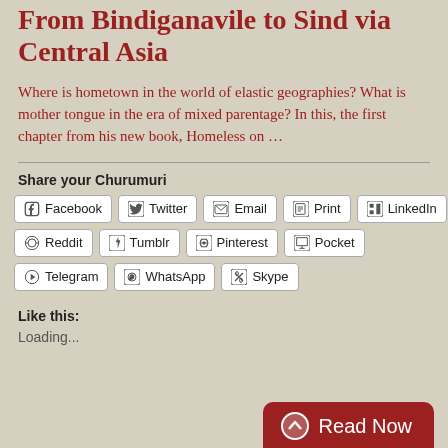From Bindiganavile to Sind via Central Asia
Where is hometown in the world of elastic geographies? What is mother tongue in the era of mixed parentage? In this, the first chapter from his new book, Homeless on …
Share your Churumuri
Facebook
Twitter
Email
Print
LinkedIn
Reddit
Tumblr
Pinterest
Pocket
Telegram
WhatsApp
Skype
Like this:
Loading...
Read Now